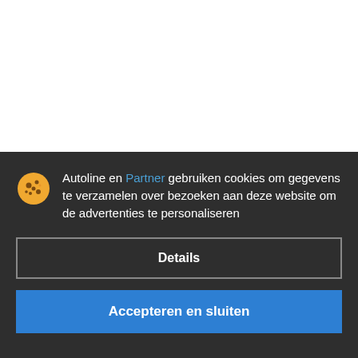[Figure (other): White background area representing a webpage behind the cookie consent overlay]
Autoline en Partner gebruiken cookies om gegevens te verzamelen over bezoeken aan deze website om de advertenties te personaliseren
Details
Accepteren en sluiten